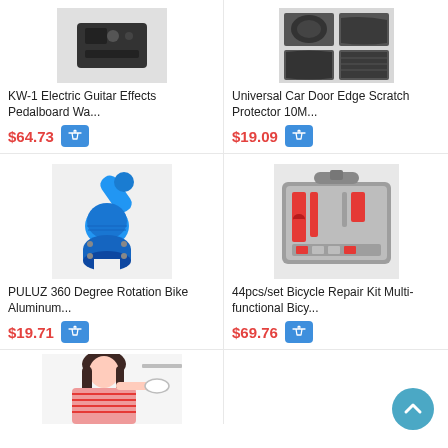[Figure (photo): KW-1 Electric Guitar Effects Pedalboard product photo - black device]
KW-1 Electric Guitar Effects Pedalboard Wa...
$64.73
[Figure (photo): Universal Car Door Edge Scratch Protector 10M product photo - black foam strips]
Universal Car Door Edge Scratch Protector 10M...
$19.09
[Figure (photo): PULUZ 360 Degree Rotation Bike Aluminum mount - blue anodized]
PULUZ 360 Degree Rotation Bike Aluminum...
$19.71
[Figure (photo): 44pcs/set Bicycle Repair Kit Multi-functional in case]
44pcs/set Bicycle Repair Kit Multi-functional Bicy...
$69.76
[Figure (photo): Young woman eating from a bowl - product lifestyle photo]